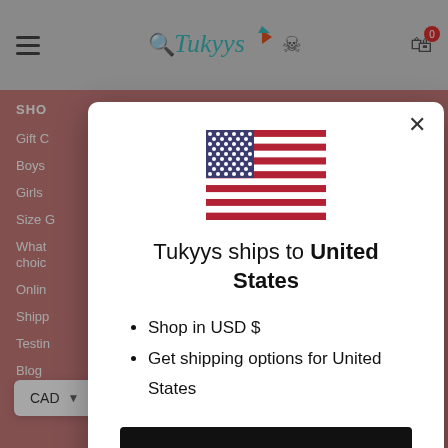[Figure (screenshot): Website background showing navigation header with hamburger menu, search icon, Tukyys logo, user icon, and cart icon with badge showing 0. Left sidebar shows navigation links including SHO(P), Gift C(ards), Boys, Girls, Size G(uide), What..., choice..., Onlin(e)..., Shipp(ing)..., Testin(g)..., Blog. Bottom left shows CAD currency selector. Bottom right shows back-to-top arrow button.]
[Figure (screenshot): Modal dialog with US flag, text 'Tukyys ships to United States', bullet points 'Shop in USD $' and 'Get shipping options for United States', a black 'Shop now' button, and 'Change shipping country' link.]
Tukyys ships to United States
Shop in USD $
Get shipping options for United States
Shop now
Change shipping country